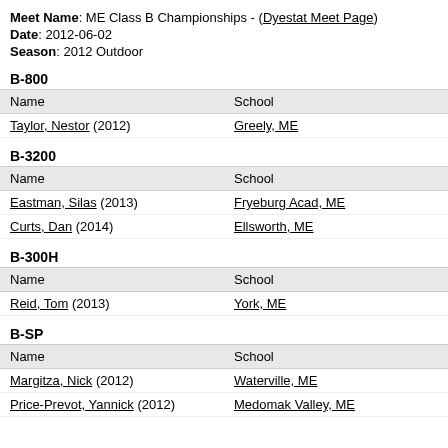Meet Name: ME Class B Championships - (Dyestat Meet Page)
Date: 2012-06-02
Season: 2012 Outdoor
B-800
| Name | School |
| --- | --- |
| Taylor, Nestor (2012) | Greely, ME |
B-3200
| Name | School |
| --- | --- |
| Eastman, Silas (2013) | Fryeburg Acad, ME |
| Curts, Dan (2014) | Ellsworth, ME |
B-300H
| Name | School |
| --- | --- |
| Reid, Tom (2013) | York, ME |
B-SP
| Name | School |
| --- | --- |
| Margitza, Nick (2012) | Waterville, ME |
| Price-Prevot, Yannick (2012) | Medomak Valley, ME |